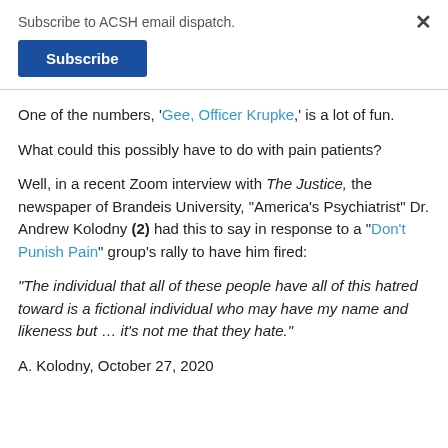Subscribe to ACSH email dispatch.
Subscribe
One of the numbers, 'Gee, Officer Krupke,' is a lot of fun.
What could this possibly have to do with pain patients?
Well, in a recent Zoom interview with The Justice, the newspaper of Brandeis University, "America's Psychiatrist" Dr. Andrew Kolodny (2) had this to say in response to a "Don't Punish Pain" group's rally to have him fired:
“The individual that all of these people have all of this hatred toward is a fictional individual who may have my name and likeness but … it’s not me that they hate.”
A. Kolodny, October 27, 2020